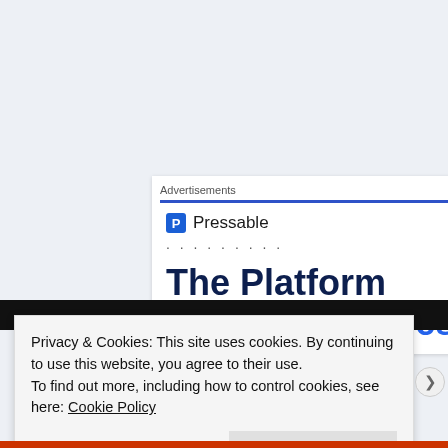Advertisements
[Figure (other): Pressable advertisement card showing the Pressable logo with blue P icon, dots separator, and headline text 'The Platform Where WordPress' in dark navy and blue colors]
Privacy & Cookies: This site uses cookies. By continuing to use this website, you agree to their use.
To find out more, including how to control cookies, see here: Cookie Policy
Close and accept